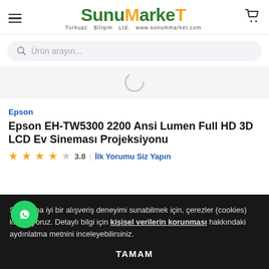SunuMarket — Turkuaz Bilişim Ltd. www.sunummarket.com
Ürün arayın...
[Figure (other): Loading spinner icon]
Epson
Epson EH-TW5300 2200 Ansi Lumen Full HD 3D LCD Ev Sineması Projeksiyonu
★★★★☆ 3.8  İlk Yorumu Siz Yapın
Size daha iyi bir alışveriş deneyimi sunabilmek için, çerezler (cookies) kullanıyoruz. Detaylı bilgi için kişisel verilerin korunması hakkındaki aydınlatma metnini inceleyebilirsiniz.
TAMAM